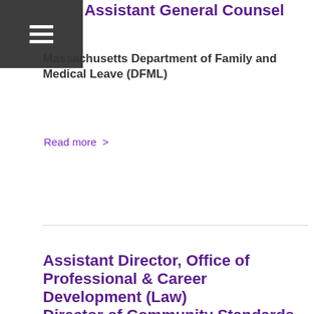Assistant General Counsel
Massachusetts Department of Family and Medical Leave (DFML)
Read more >
Assistant Director, Office of Professional & Career Development (Law)
Director of Community Standards
Suffolk University
Read more >